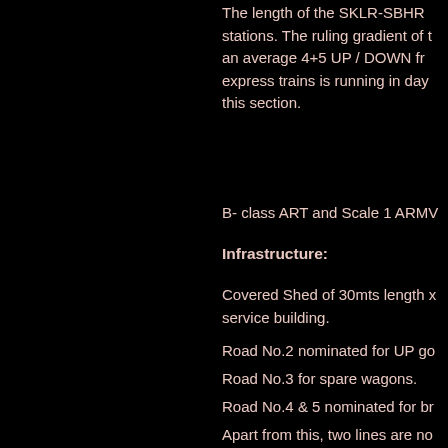The length of the SKLR-SBHR stations. The ruling gradient of an average 4+5 UP / DOWN fr express trains is running in day this section.
B- class ART and Scale 1 ARMV
Infrastructure:
Covered Shed of 30mts length x service building.
Road No.2 nominated for UP go
Road No.3 for spare wagons.
Road No.4 & 5 nominated for br
Apart from this, two lines are no
Activities.
Rolling in/out examination.
Up-gradation of Brake Power fo
Ensuring  the working of Auto